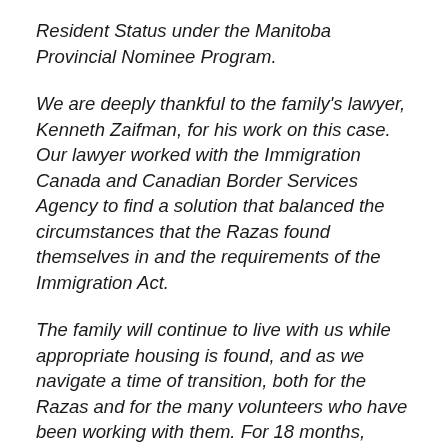Resident Status under the Manitoba Provincial Nominee Program.
We are deeply thankful to the family's lawyer, Kenneth Zaifman, for his work on this case. Our lawyer worked with the Immigration Canada and Canadian Border Services Agency to find a solution that balanced the circumstances that the Razas found themselves in and the requirements of the Immigration Act.
The family will continue to live with us while appropriate housing is found, and as we navigate a time of transition, both for the Razas and for the many volunteers who have been working with them. For 18 months, Crescent Fort Rouge United has been both home and prison to the family, and the change for the Raza family and for us in the church will be enormous. We have formed deep